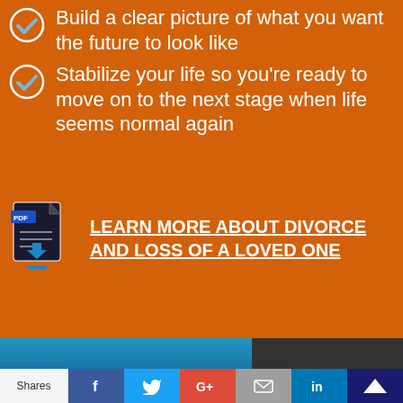Build a clear picture of what you want the future to look like
Stabilize your life so you're ready to move on to the next stage when life seems normal again
[Figure (illustration): PDF download icon — document with PDF label and download arrow]
LEARN MORE ABOUT DIVORCE AND LOSS OF A LOVED ONE
[Figure (photo): Blue photo strip at bottom and dark photo at right]
Shares | Facebook | Twitter | Google+ | Email | LinkedIn | Monarch